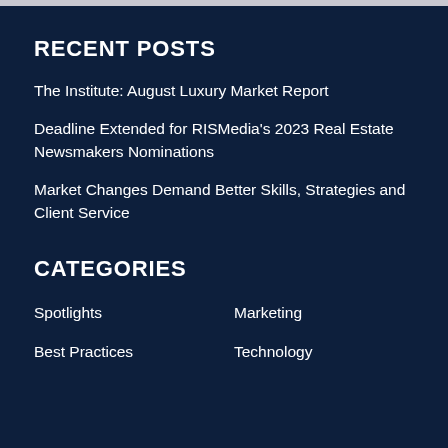RECENT POSTS
The Institute: August Luxury Market Report
Deadline Extended for RISMedia's 2023 Real Estate Newsmakers Nominations
Market Changes Demand Better Skills, Strategies and Client Service
CATEGORIES
Spotlights
Marketing
Best Practices
Technology